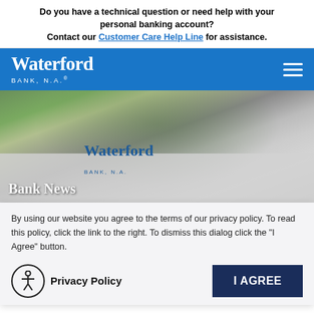Do you have a technical question or need help with your personal banking account? Contact our Customer Care Help Line for assistance.
[Figure (screenshot): Waterford Bank N.A. website header with blue navigation bar showing logo and hamburger menu icon]
[Figure (photo): Blurred background photo of a person reading a newspaper with Waterford Bank N.A. logo and 'Bank News' text overlay]
By using our website you agree to the terms of our privacy policy. To read this policy, click the link to the right. To dismiss this dialog click the "I Agree" button.
Privacy Policy
I AGREE